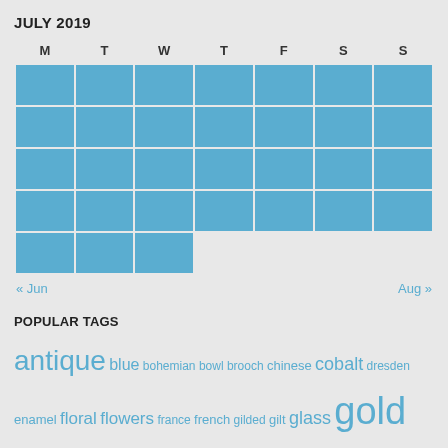JULY 2019
| M | T | W | T | F | S | S |
| --- | --- | --- | --- | --- | --- | --- |
|  |  |  |  |  |  |  |
|  |  |  |  |  |  |  |
|  |  |  |  |  |  |  |
|  |  |  |  |  |  |  |
|  |  |  |  |  |  |  |
« Jun    Aug »
POPULAR TAGS
antique blue bohemian bowl brooch chinese cobalt dresden enamel floral flowers france french gilded gilt glass gold green hand hand-painted handpainted large leaf limoges